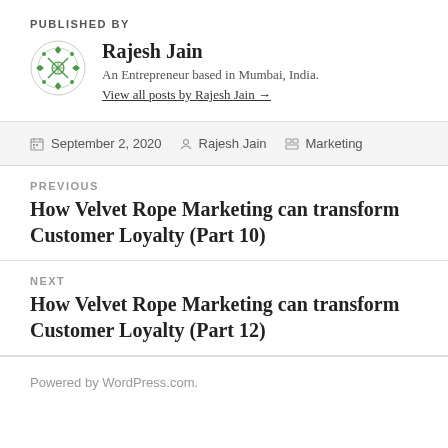PUBLISHED BY
Rajesh Jain
An Entrepreneur based in Mumbai, India.
View all posts by Rajesh Jain →
September 2, 2020  Rajesh Jain  Marketing
PREVIOUS
How Velvet Rope Marketing can transform Customer Loyalty (Part 10)
NEXT
How Velvet Rope Marketing can transform Customer Loyalty (Part 12)
Powered by WordPress.com.